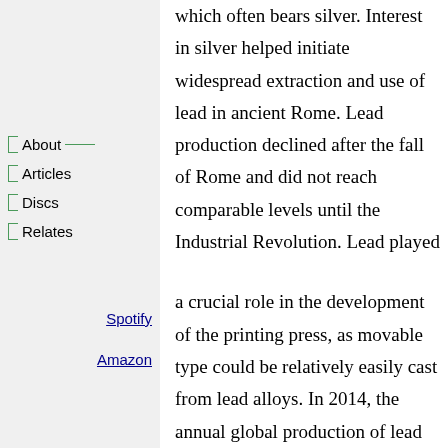which often bears silver. Interest in silver helped initiate widespread extraction and use of lead in ancient Rome. Lead production declined after the fall of Rome and did not reach comparable levels until the Industrial Revolution. Lead played
About
Articles
Discs
Relates
Spotify
Amazon
a crucial role in the development of the printing press, as movable type could be relatively easily cast from lead alloys. In 2014, the annual global production of lead was about ten million tonnes, over half of which was from recycling. Lead's high density, low melting point, ductility and relative inertness to oxidation make it useful. These properties, combined with its relative abundance and low